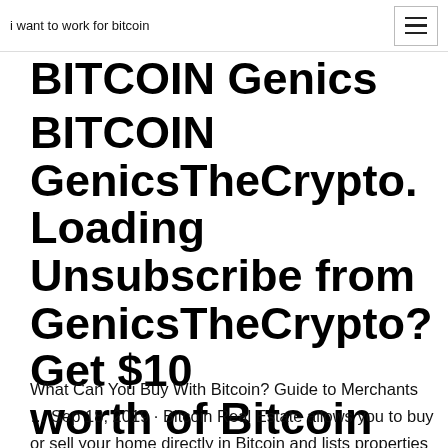i want to work for bitcoin
BITCOIN GenicsTheCrypto. Loading Unsubscribe from GenicsTheCrypto? Get $10 worth of Bitcoin when you buy $100 worth of Bitcoin through me.
What Can You Buy With Bitcoin? Guide to Merchants … Sep 18, 2019 · Bitcoin Real Estate allows you to buy or sell your home directly in Bitcoin and lists properties worldwide for sale that can be purchased in the legacy cryptocurrency. Further, numerous real estate companies are accepting purchases of properties in Bitcoin, citing the growing demand for younger investors to pay via alternative methods. Charities How to Buy